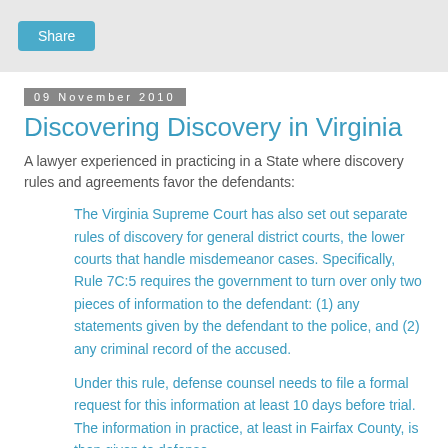Share
09 November 2010
Discovering Discovery in Virginia
A lawyer experienced in practicing in a State where discovery rules and agreements favor the defendants:
The Virginia Supreme Court has also set out separate rules of discovery for general district courts, the lower courts that handle misdemeanor cases. Specifically, Rule 7C:5 requires the government to turn over only two pieces of information to the defendant: (1) any statements given by the defendant to the police, and (2) any criminal record of the accused.
Under this rule, defense counsel needs to file a formal request for this information at least 10 days before trial. The information in practice, at least in Fairfax County, is then given to defense